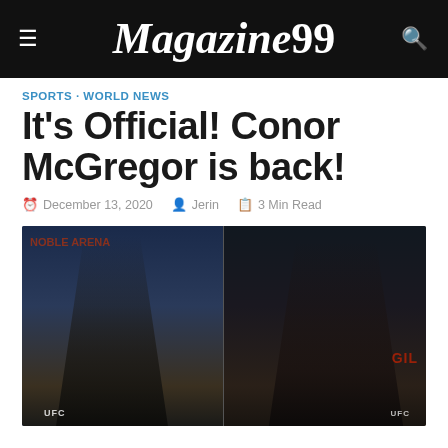Magazine99
SPORTS · WORLD NEWS
It's Official! Conor McGregor is back!
December 13, 2020   Jerin   3 Min Read
[Figure (photo): Side-by-side photo of two UFC fighters: Conor McGregor on the left and Dustin Poirier on the right, both shirtless in the octagon]